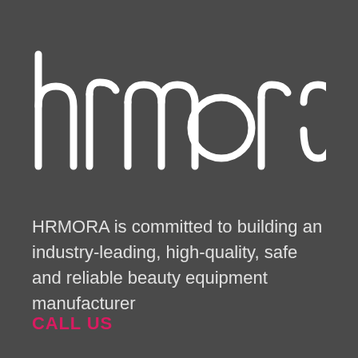[Figure (logo): HRMORA brand logo in white stylized lowercase letters on dark grey background]
HRMORA is committed to building an industry-leading, high-quality, safe and reliable beauty equipment manufacturer
CALL US